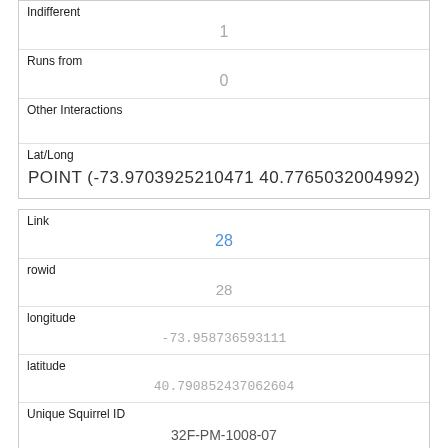| Indifferent | 1 |
| Runs from | 0 |
| Other Interactions |  |
| Lat/Long | POINT (-73.9703925210471 40.7765032004992) |
| Link | 28 |
| rowid | 28 |
| longitude | -73.958736593111 |
| latitude | 40.790852437062604 |
| Unique Squirrel ID | 32F-PM-1008-07 |
| Hectare | 32F |